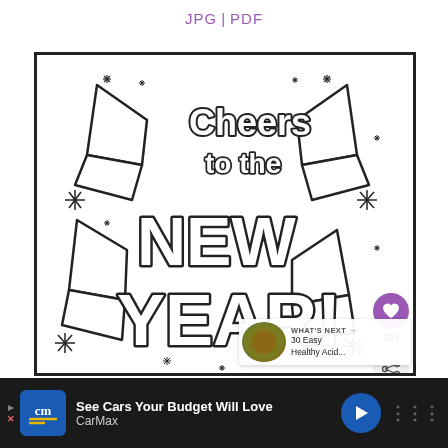JPG | PDF
[Figure (illustration): Black and white coloring page showing 'Cheers to the NEW YEAR!' text in bubble/block letters surrounded by party blowers, stars and sparkles decorations. A purple heart button showing 103 likes is overlaid on the right side, along with a share button. A 'WHAT'S NEXT' thumbnail for '30 Easy Healthy Acid...' appears in the lower right.]
WHAT'S NEXT → 30 Easy Healthy Acid...
See Cars Your Budget Will Love CarMax